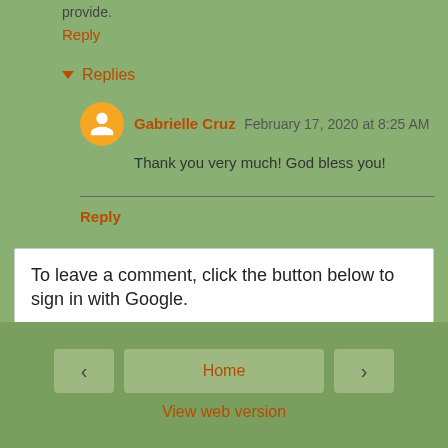provide.
Reply
Replies
Gabrielle Cruz  February 17, 2020 at 8:25 AM
Thank you very much! God bless you!
Reply
To leave a comment, click the button below to sign in with Google.
SIGN IN WITH GOOGLE
Home
View web version